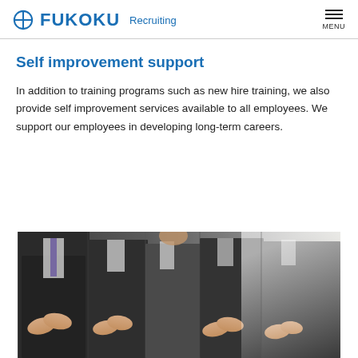FUKOKU Recruiting | MENU
Self improvement support
In addition to training programs such as new hire training, we also provide self improvement services available to all employees. We support our employees in developing long-term careers.
[Figure (photo): Group of business professionals in suits clapping their hands, viewed from the torso down, with soft backlit lighting]